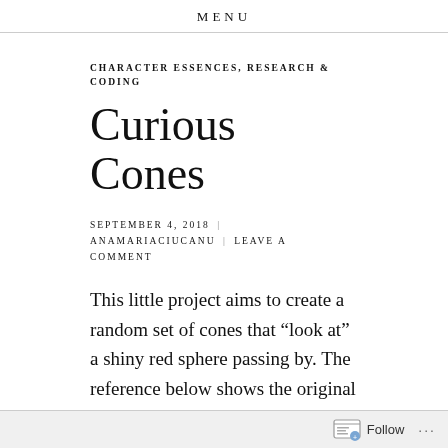MENU
CHARACTER ESSENCES, RESEARCH & CODING
Curious Cones
SEPTEMBER 4, 2018 | ANAMARIACIUCANU | LEAVE A COMMENT
This little project aims to create a random set of cones that “look at” a shiny red sphere passing by. The reference below shows the original maya + python youtube tutorial